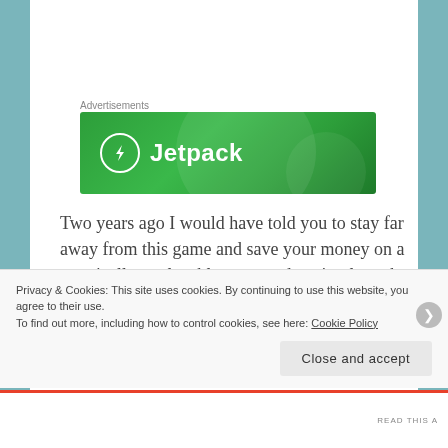Advertisements
[Figure (logo): Jetpack advertisement banner — green background with Jetpack logo (lightning bolt in circle) and text 'Jetpack']
Two years ago I would have told you to stay far away from this game and save your money on a practically unplayable scam and to simply make a point to the developers that gamers wont support this type of disrespect even if they did get Keanu R...
Privacy & Cookies: This site uses cookies. By continuing to use this website, you agree to their use.
To find out more, including how to control cookies, see here: Cookie Policy
Close and accept